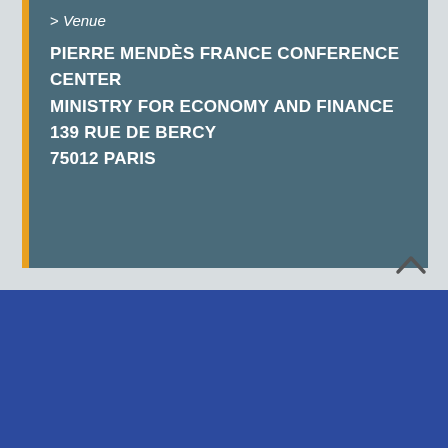> Venue
PIERRE MENDÈS FRANCE CONFERENCE CENTER
MINISTRY FOR ECONOMY AND FINANCE
139 RUE DE BERCY
75012 PARIS
By continuing to browse this site, you agree to the use of cookies intended to provide you with an optimal browsing experience and generate visitor statistics. Learn more
OK, I AGREE